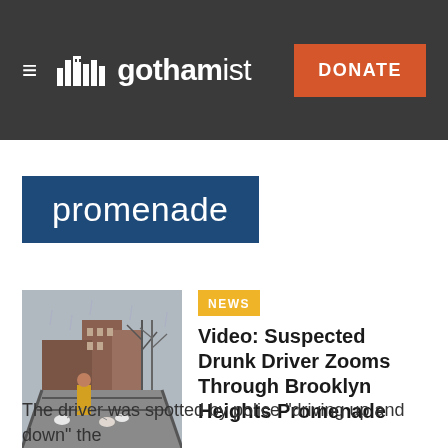gothamist — DONATE
promenade
[Figure (photo): Person walking dogs in rainy weather on an outdoor walkway, urban scene with bare trees and brick buildings in background]
NEWS
Video: Suspected Drunk Driver Zooms Through Brooklyn Heights Promenade
The driver was spotted by police "driving up and down" the